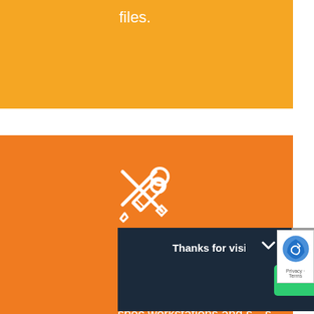files.
[Figure (illustration): Screwdriver and wrench crossed icon (white outline on orange background)]
Hardware
Building your office infrastructure with custom-spec workstations and s...s
[Figure (screenshot): Dark blue popup overlay: 'Thanks for visiting our website! Did you find what you were looking for today?' with a green Reply button. A grey scroll-to-top button and a reCAPTCHA widget are also visible.]